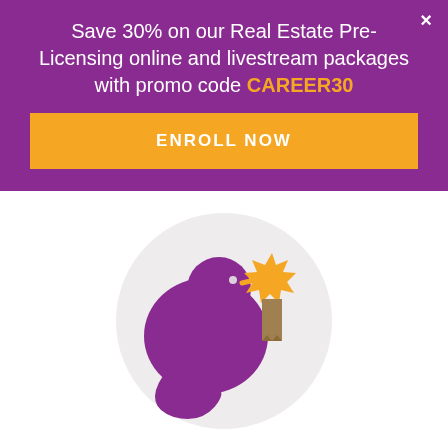Save 30% on our Real Estate Pre-Licensing online and livestream packages with promo code CAREER30
ENROLL NOW
[Figure (logo): Purple kiwi bird logo with orange starburst and brown ribbon/bookmark, on a light gray circle background]
Step 2. Pass your real estate exam